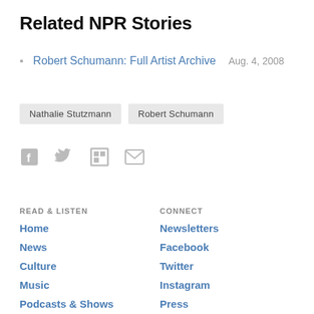Related NPR Stories
Robert Schumann: Full Artist Archive   Aug. 4, 2008
Nathalie Stutzmann  Robert Schumann
[Figure (infographic): Social sharing icons: Facebook, Twitter, Flipboard, Email]
READ & LISTEN
CONNECT
Home
Newsletters
News
Facebook
Culture
Twitter
Music
Instagram
Podcasts & Shows
Press